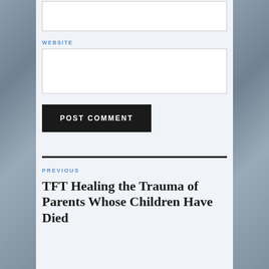WEBSITE
POST COMMENT
PREVIOUS
TFT Healing the Trauma of Parents Whose Children Have Died